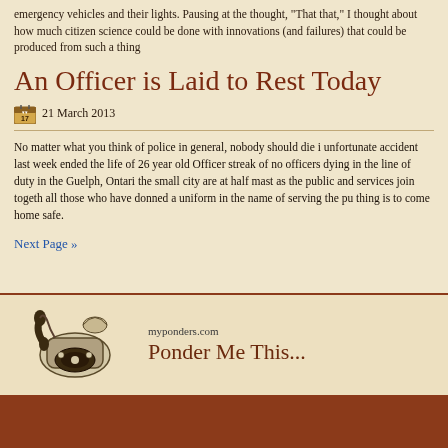emergency vehicles and their lights. Pausing at the thought, "That that," I thought about how much citizen science could be done with innovations (and failures) that could be produced from such a thing
An Officer is Laid to Rest Today
21 March 2013
No matter what you think of police in general, nobody should die i unfortunate accident last week ended the life of 26 year old Officer streak of no officers dying in the line of duty in the Guelph, Ontari the small city are at half mast as the public and services join togeth all those who have donned a uniform in the name of serving the pu thing is to come home safe.
Next Page »
myponders.com
Ponder Me This...